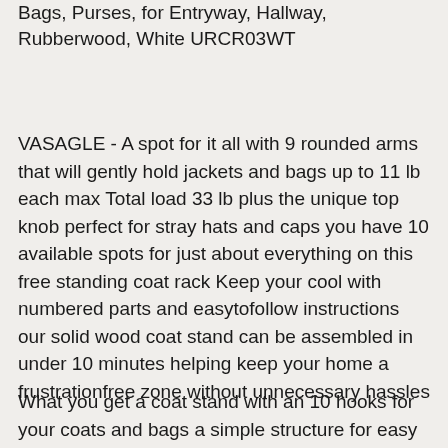Bags, Purses, for Entryway, Hallway, Rubberwood, White URCR03WT
VASAGLE - A spot for it all with 9 rounded arms that will gently hold jackets and bags up to 11 lb each max Total load 33 lb plus the unique top knob perfect for stray hats and caps you have 10 available spots for just about everything on this free standing coat rack Keep your cool with numbered parts and easytofollow instructions our solid wood coat stand can be assembled in under 10 minutes helping keep your home a frustrationfree zone without unnecessary hassles
What you get a coat stand with an 10 hooks for your coats and bags a simple structure for easy assembly and